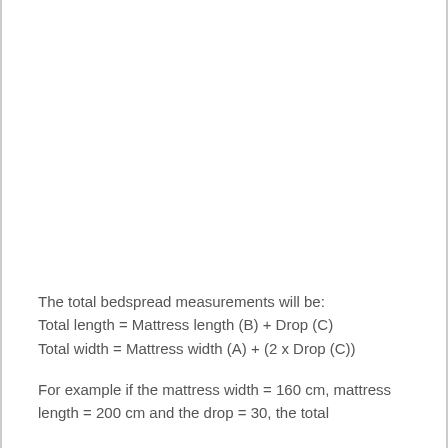The total bedspread measurements will be:
Total length = Mattress length (B) + Drop (C)
Total width = Mattress width (A) + (2 x Drop (C))
For example if the mattress width = 160 cm, mattress length = 200 cm and the drop = 30, the total